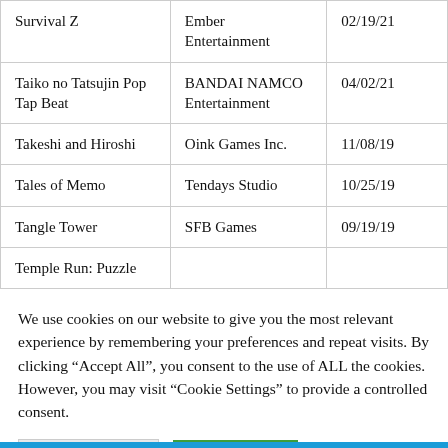| Game | Publisher | Date |
| --- | --- | --- |
| Survival Z | Ember Entertainment | 02/19/21 |
| Taiko no Tatsujin Pop Tap Beat | BANDAI NAMCO Entertainment | 04/02/21 |
| Takeshi and Hiroshi | Oink Games Inc. | 11/08/19 |
| Tales of Memo | Tendays Studio | 10/25/19 |
| Tangle Tower | SFB Games | 09/19/19 |
| Temple Run: Puzzle |  |  |
We use cookies on our website to give you the most relevant experience by remembering your preferences and repeat visits. By clicking "Accept All", you consent to the use of ALL the cookies. However, you may visit "Cookie Settings" to provide a controlled consent.